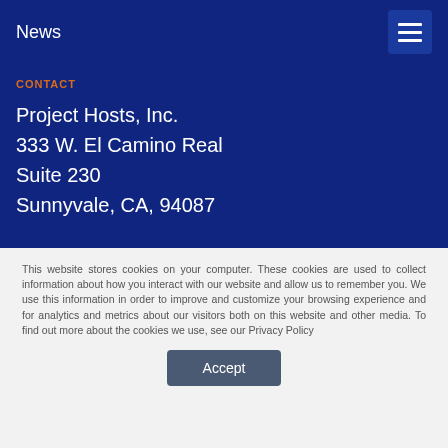News
CONTACT
Project Hosts, Inc.
333 W. El Camino Real
Suite 230
Sunnyvale, CA, 94087
This website stores cookies on your computer. These cookies are used to collect information about how you interact with our website and allow us to remember you. We use this information in order to improve and customize your browsing experience and for analytics and metrics about our visitors both on this website and other media. To find out more about the cookies we use, see our Privacy Policy
Accept